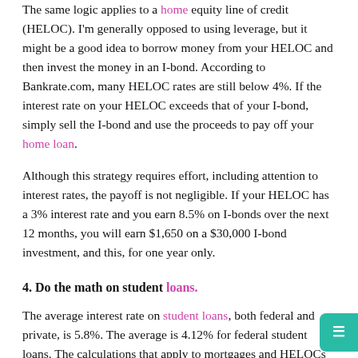The same logic applies to a home equity line of credit (HELOC). I'm generally opposed to using leverage, but it might be a good idea to borrow money from your HELOC and then invest the money in an I-bond. According to Bankrate.com, many HELOC rates are still below 4%. If the interest rate on your HELOC exceeds that of your I-bond, simply sell the I-bond and use the proceeds to pay off your home loan.
Although this strategy requires effort, including attention to interest rates, the payoff is not negligible. If your HELOC has a 3% interest rate and you earn 8.5% on I-bonds over the next 12 months, you will earn $1,650 on a $30,000 I-bond investment, and this, for one year only.
4. Do the math on student loans.
The average interest rate on student loans, both federal and private, is 5.8%. The average is 4.12% for federal student loans. The calculations that apply to mortgages and HELOCs also apply to student loans. Given the juicy returns from I-bonds, it may be worth making the minimum payment on your student loans and investing the rest in I-bonds. Again, this strategy could be reversed if I bond